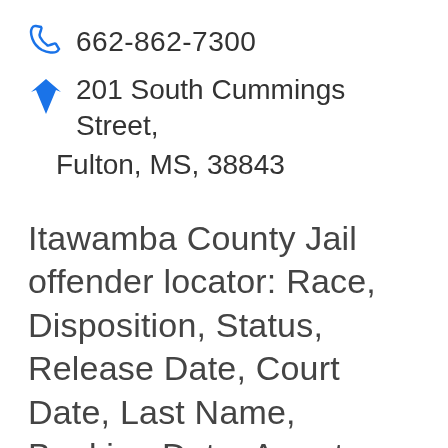662-862-7300
201 South Cummings Street, Fulton, MS, 38843
Itawamba County Jail offender locator: Race, Disposition, Status, Release Date, Court Date, Last Name, Booking Date, Arrests, Last Name, Bookings, Bond, Status, Custody, Mugshots, Who's in jail, Liens and Judgments, Degree Level, Criminal Records, Bond Information, Charge